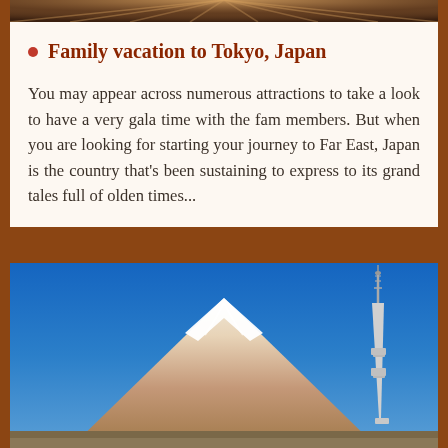[Figure (photo): Top portion of a photo, appears to show wooden deck or railing with sunburst light rays]
Family vacation to Tokyo, Japan
You may appear across numerous attractions to take a look to have a very gala time with the fam members. But when you are looking for starting your journey to Far East, Japan is the country that's been sustaining to express to its grand tales full of olden times...
[Figure (photo): Photo of Mount Fuji with snow-capped peak against a clear blue sky, and the Tokyo Skytree tower visible on the right side]